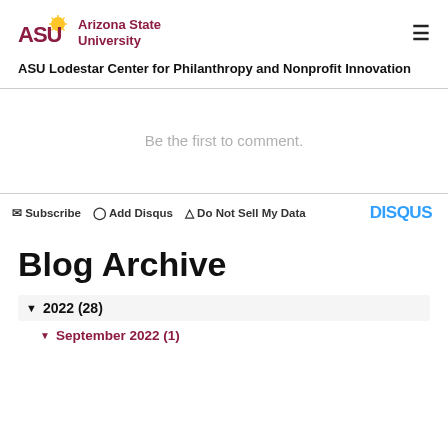ASU Arizona State University
ASU Lodestar Center for Philanthropy and Nonprofit Innovation
Be the first to comment.
Subscribe  Add Disqus  Do Not Sell My Data  DISQUS
Blog Archive
▼ 2022 (28)
▼ September 2022 (1)